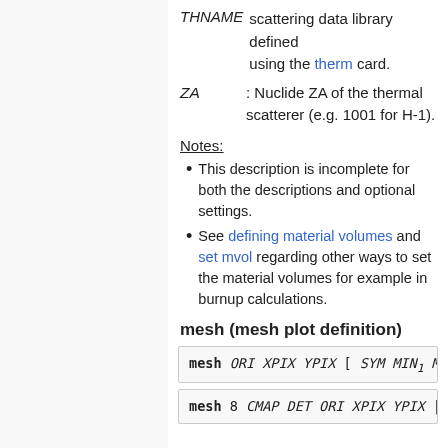THNAME scattering data library defined using the therm card.
ZA : Nuclide ZA of the thermal scatterer (e.g. 1001 for H-1).
Notes:
This description is incomplete for both the descriptions and optional settings.
See defining material volumes and set mvol regarding other ways to set the material volumes for example in burnup calculations.
mesh (mesh plot definition)
mesh ORI XPIX YPIX [ SYM MIN1 M...
mesh 8 CMAP DET ORI XPIX YPIX ...